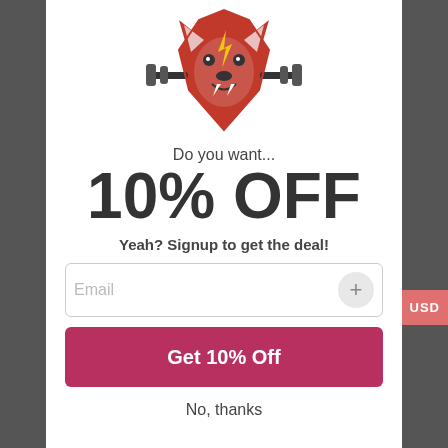[Figure (logo): Red wolf/mascot with barbells logo icon]
Do you want...
10% OFF
Yeah? Signup to get the deal!
Email (input field placeholder)
Get 10% Off
No, thanks